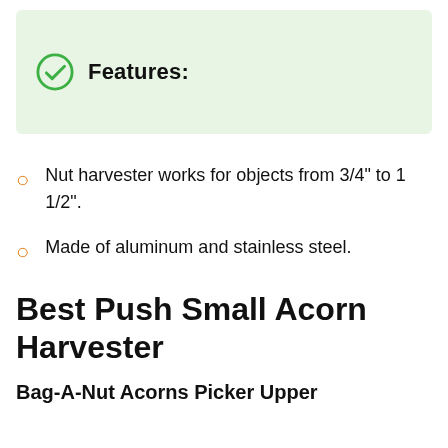Features:
Nut harvester works for objects from 3/4" to 1 1/2".
Made of aluminum and stainless steel.
Best Push Small Acorn Harvester
Bag-A-Nut Acorns Picker Upper